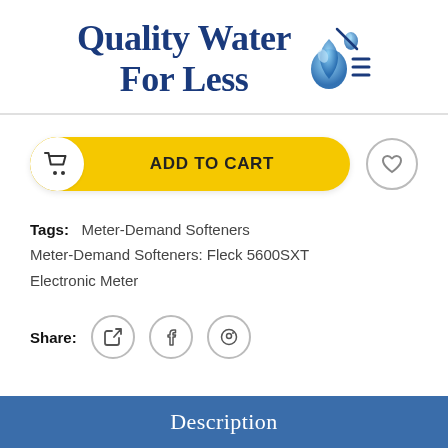[Figure (logo): Quality Water For Less logo with water drop graphic and menu icon]
[Figure (other): Add to Cart button (yellow pill shape with cart icon) and wishlist heart icon circle]
Tags: Meter-Demand Softeners Meter-Demand Softeners: Fleck 5600SXT Electronic Meter
Share: [Twitter] [Facebook] [Pinterest]
Description